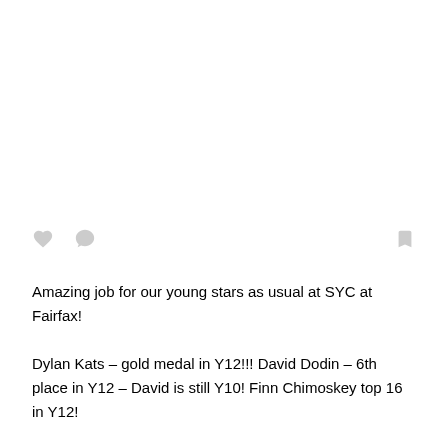[Figure (other): Social media post icons: heart (like), comment bubble, and bookmark icons in a row]
Amazing job for our young stars as usual at SYC at Fairfax! Dylan Kats – gold medal in Y12!!! David Dodin – 6th place in Y12 – David is still Y10! Finn Chimoskey top 16 in Y12! Daniel Dodin – bronze medal 🥉 in Y8! Grayson Shchur – silver medal 🥈 in Y8! Mitchell Pozovskiy – top 16 in Y14! Great job everybody! Let's keep that number 1 title that our club earned last year in SYC medals! #fencenyfa #teamnyfa #syc #goldmedalist #youngchamps